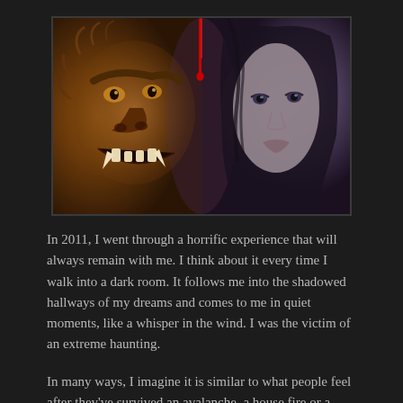[Figure (illustration): Horror composite image showing a monster/werewolf face on the left side with fangs and glowing eyes, and a woman's face on the right side, separated by a blood drip line down the center. Dark, moody atmosphere with orange-brown and purple-blue tones.]
In 2011, I went through a horrific experience that will always remain with me. I think about it every time I walk into a dark room. It follows me into the shadowed hallways of my dreams and comes to me in quiet moments, like a whisper in the wind. I was the victim of an extreme haunting.
In many ways, I imagine it is similar to what people feel after they've survived an avalanche, a house fire or a near